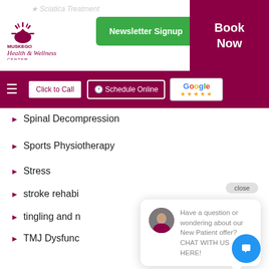[Figure (logo): Muskego Health & Wellness Center logo with sun icon]
Newsletter Signup | Book Now
Click to Call | Schedule Online | Google reviews
Spinal Decompression
Sports Physiotherapy
Stress
stroke rehabi...
tingling and n...
TMJ Dysfunc...
Uncategorized
Weight Loss
Wellness
Have a question or wondering about our New Patient offer? CHAT WITH US HERE!